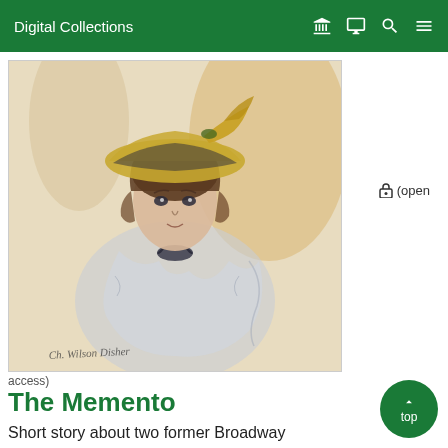Digital Collections
[Figure (illustration): Sketch/illustration of a woman wearing a decorative hat with feathers, dressed in a light-colored garment with a dark bow at the neck. Artist signature at the bottom: Ch. Wilson Disher (or similar). Yellowish/cream background tones.]
access)
The Memento
Short story about two former Broadway actresses.